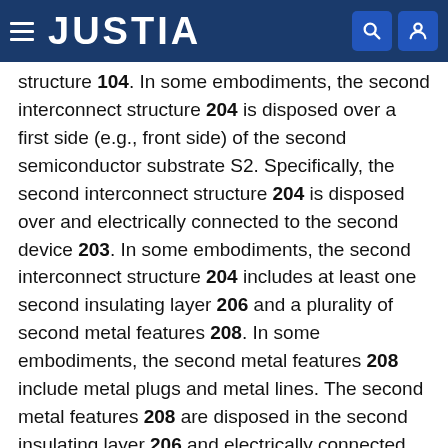JUSTIA
structure 104. In some embodiments, the second interconnect structure 204 is disposed over a first side (e.g., front side) of the second semiconductor substrate S2. Specifically, the second interconnect structure 204 is disposed over and electrically connected to the second device 203. In some embodiments, the second interconnect structure 204 includes at least one second insulating layer 206 and a plurality of second metal features 208. In some embodiments, the second metal features 208 include metal plugs and metal lines. The second metal features 208 are disposed in the second insulating layer 206 and electrically connected with each other. A portion of the second metal features 208, such as second top metal features 208a, are exposed by the second insulating layer 206.
The second passivation layer 209 may be similar to the first passivation layer 109 in terms of materials and